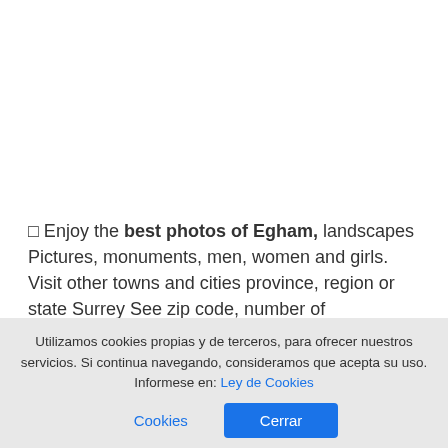🔲 Enjoy the best photos of Egham, landscapes Pictures, monuments, men, women and girls. Visit other towns and cities province, region or state Surrey See zip code, number of inhabitants, coordinates, restaurants and hotels
These are photos taken by their neighbors and tourists, In the vicinity of the following coordinates, latitude and longitude
Utilizamos cookies propias y de terceros, para ofrecer nuestros servicios. Si continua navegando, consideramos que acepta su uso. Informese en: Ley de Cookies  Cerrar